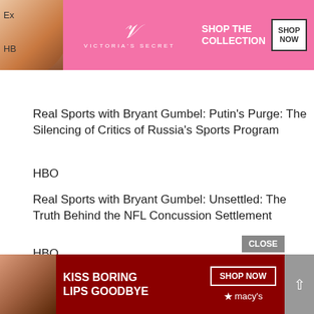[Figure (other): Victoria's Secret advertisement banner with model, VS logo, 'SHOP THE COLLECTION' text and 'SHOP NOW' button on pink background]
Real Sports with Bryant Gumbel: Putin's Purge: The Silencing of Critics of Russia's Sports Program
HBO
Real Sports with Bryant Gumbel: Unsettled: The Truth Behind the NFL Concussion Settlement
HBO
OUTSTANDING SHORT FEATURE
Col...
SC...
[Figure (other): Macy's advertisement banner with 'KISS BORING LIPS GOODBYE' text, model, 'SHOP NOW' button and Macy's star logo on dark red background]